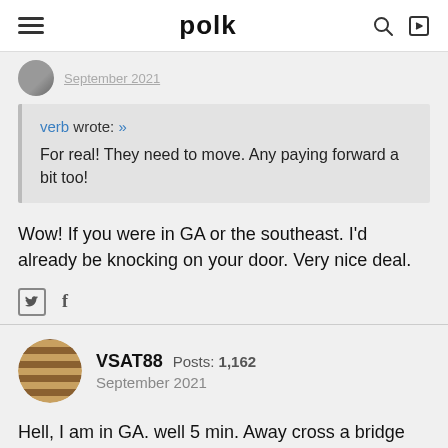polk
September 2021
verb wrote: »
For real! They need to move. Any paying forward a bit too!
Wow! If you were in GA or the southeast. I'd already be knocking on your door. Very nice deal.
VSAT88  Posts: 1,162
September 2021
Hell, I am in GA. well 5 min. Away cross a bridge and I may be knocking . Thing is I got the $ just no time right now... That is one hell of a lot of paying fwd yeah I